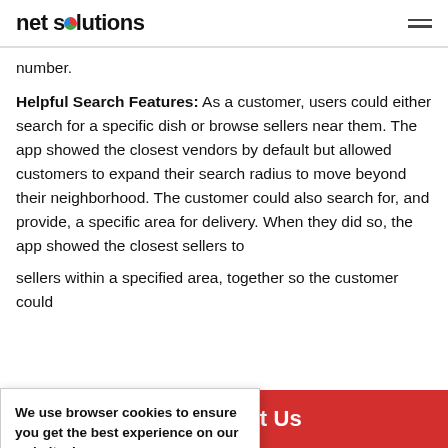net solutions
number.
Helpful Search Features: As a customer, users could either search for a specific dish or browse sellers near them. The app showed the closest vendors by default but allowed customers to expand their search radius to move beyond their neighborhood. The customer could also search for, and provide, a specific area for delivery. When they did so, the app showed the closest sellers to
sellers within a specified area, together so the customer could
We use browser cookies to ensure you get the best experience on our website. Learn more.
Got It!
ontact Us